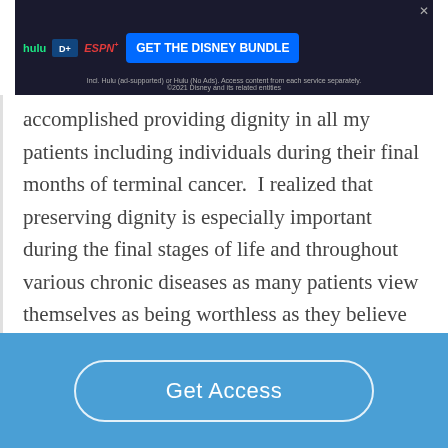[Figure (screenshot): Advertisement banner for Disney Bundle featuring Hulu, Disney+, and ESPN+ logos with a blue 'GET THE DISNEY BUNDLE' call-to-action button]
accomplished providing dignity in all my patients including individuals during their final months of terminal cancer.  I realized that preserving dignity is especially important during the final stages of life and throughout various chronic diseases as many patients view themselves as being worthless as they believe that their disease or condition is
[Figure (screenshot): Blue paywall bar with 'Get Access' button in white rounded rectangle]